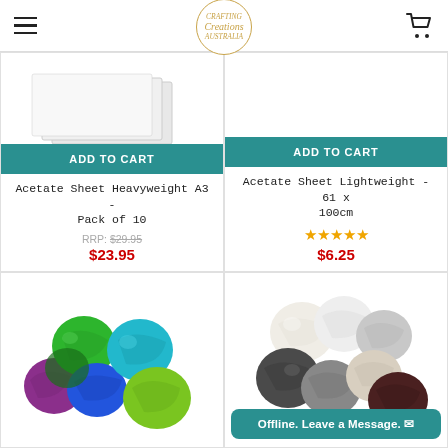Crafting Creations Australia
[Figure (screenshot): Partial acetate sheet product image, top-left card]
ADD TO CART
Acetate Sheet Heavyweight A3 - Pack of 10
RRP: $29.95
$23.95
[Figure (screenshot): Partial acetate sheet product image, top-right card]
ADD TO CART
Acetate Sheet Lightweight - 61 x 100cm
★★★★★
$6.25
[Figure (photo): Colourful yarn balls in green, blue, purple, and lime green colours]
[Figure (photo): Neutral yarn balls in white, grey, dark grey, cream, and dark brown colours]
Offline. Leave a Message. ✉